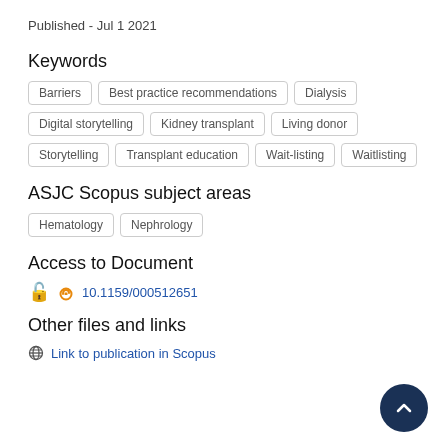Published - Jul 1 2021
Keywords
Barriers
Best practice recommendations
Dialysis
Digital storytelling
Kidney transplant
Living donor
Storytelling
Transplant education
Wait-listing
Waitlisting
ASJC Scopus subject areas
Hematology
Nephrology
Access to Document
10.1159/000512651
Other files and links
Link to publication in Scopus